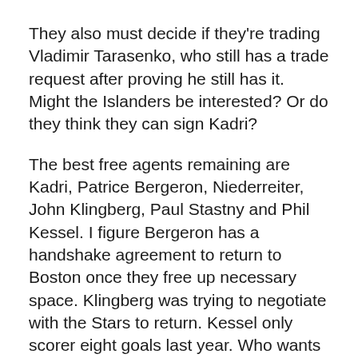They also must decide if they're trading Vladimir Tarasenko, who still has a trade request after proving he still has it. Might the Islanders be interested? Or do they think they can sign Kadri?
The best free agents remaining are Kadri, Patrice Bergeron, Niederreiter, John Klingberg, Paul Stastny and Phil Kessel. I figure Bergeron has a handshake agreement to return to Boston once they free up necessary space. Klingberg was trying to negotiate with the Stars to return. Kessel only scorer eight goals last year. Who wants him? Stastny can be a solid third center at this stage.
The other big name who signed was Andre Burakovsky. As predicted, he went to Seattle for big money, getting an AAV of $5.5 million from the Kraken over five years. It made sense. They needed a scorer and Burakovsky